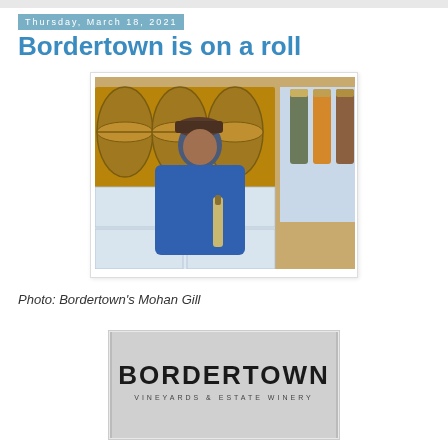Thursday, March 18, 2021
Bordertown is on a roll
[Figure (photo): Man in blue jacket and cap holding a wine bottle, standing in front of wine barrels and stacked white boxes with wine bottles in background]
Photo: Bordertown's Mohan Gill
[Figure (logo): Bordertown Vineyards & Estate Winery logo on grey background]